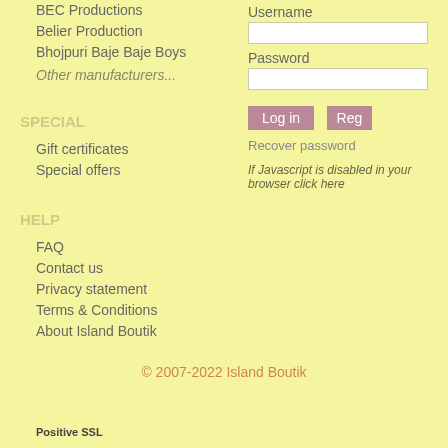BEC Productions
Belier Production
Bhojpuri Baje Baje Boys
Other manufacturers...
SPECIAL
Gift certificates
Special offers
HELP
FAQ
Contact us
Privacy statement
Terms & Conditions
About Island Boutik
Username
Password
Log in
Reg
Recover password
If Javascript is disabled in your browser click here
© 2007-2022 Island Boutik
Positive SSL